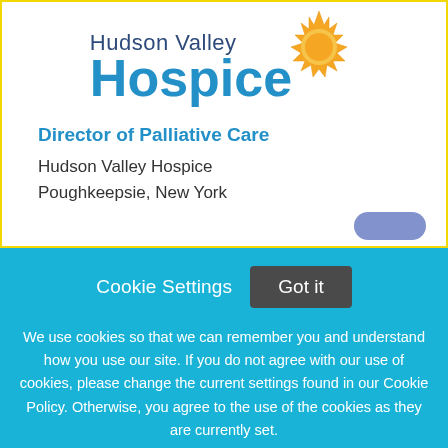[Figure (logo): Hudson Valley Hospice logo with sun graphic and blue text]
Director of Palliative Care
Hudson Valley Hospice
Poughkeepsie, New York
Cookie Settings   Got it
We use cookies so that we can remember you and understand how you use our site. If you do not agree with our use of cookies, please change the current settings found in our Cookie Policy. Otherwise, you agree to the use of the cookies as they are currently set.